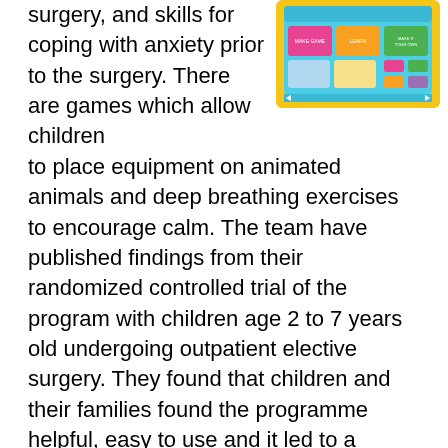surgery, and skills for coping with anxiety prior to the surgery. There are games which allow children to place equipment on animated animals and deep breathing exercises to encourage calm. The team have published findings from their randomized controlled trial of the program with children age 2 to 7 years old undergoing outpatient elective surgery. They found that children and their families found the programme helpful, easy to use and it led to a reduction in preoperative anxiety.
[Figure (screenshot): Screenshot of a colorful educational tablet app interface with a yellow border, showing game tiles and options on screen.]
Finally, I met with PhD student Kate Ringland who is studying an online community for children with autism built around the game Minecraft. Minecraft is a creative game which allows players to dig (mine) and build (craft)